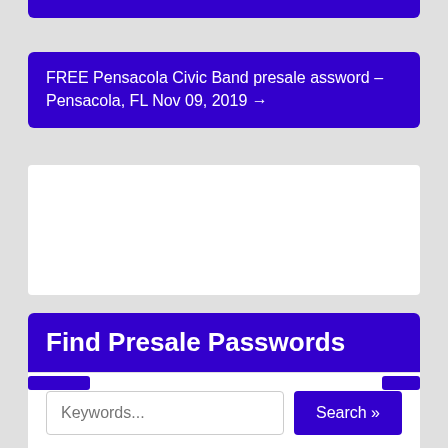FREE Pensacola Civic Band presale assword – Pensacola, FL Nov 09, 2019 →
[Figure (other): White rectangular advertisement placeholder box]
Find Presale Passwords
Keywords... Search »